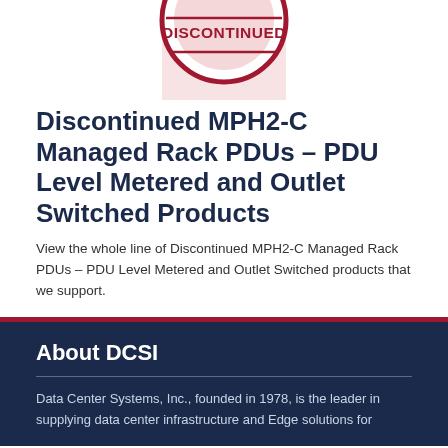[Figure (logo): Red circular 'DISCONTINUED' stamp/seal with bold red text and red circle outline, partially cropped at top]
Discontinued MPH2-C Managed Rack PDUs – PDU Level Metered and Outlet Switched Products
View the whole line of Discontinued MPH2-C Managed Rack PDUs – PDU Level Metered and Outlet Switched products that we support.
About DCSI
Data Center Systems, Inc., founded in 1978, is the leader in supplying data center infrastructure and Edge solutions for